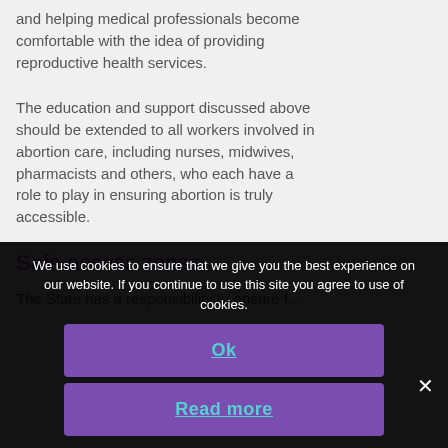and helping medical professionals become comfortable with the idea of providing reproductive health services.
The education and support discussed above should be extended to all workers involved in abortion care, including nurses, midwives, pharmacists and others, who each have a role to play in ensuring abortion is truly accessible.
Safe access zones
The State has a responsibility to ensure f...
We use cookies to ensure that we give you the best experience on our website. If you continue to use this site you agree to use of cookies.